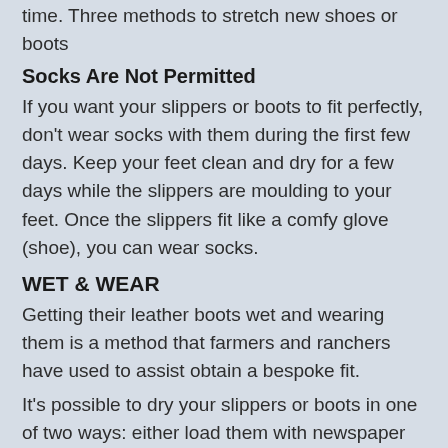time. Three methods to stretch new shoes or boots
Socks Are Not Permitted
If you want your slippers or boots to fit perfectly, don't wear socks with them during the first few days. Keep your feet clean and dry for a few days while the slippers are moulding to your feet. Once the slippers fit like a comfy glove (shoe), you can wear socks.
WET & WEAR
Getting their leather boots wet and wearing them is a method that farmers and ranchers have used to assist obtain a bespoke fit.
It's possible to dry your slippers or boots in one of two ways: either load them with newspaper and let them dry or spritz them with water and wear them while they dry. In both cases, a comfortable fit is achieved. Using a combination of 1/3 rubbing